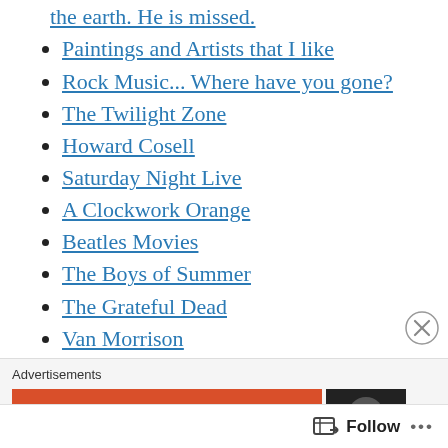the earth. He is missed.
Paintings and Artists that I like
Rock Music... Where have you gone?
The Twilight Zone
Howard Cosell
Saturday Night Live
A Clockwork Orange
Beatles Movies
The Boys of Summer
The Grateful Dead
Van Morrison
Have Gun Will Travel
The Dick Cavett Show
Advertisements
Search, browse, and email